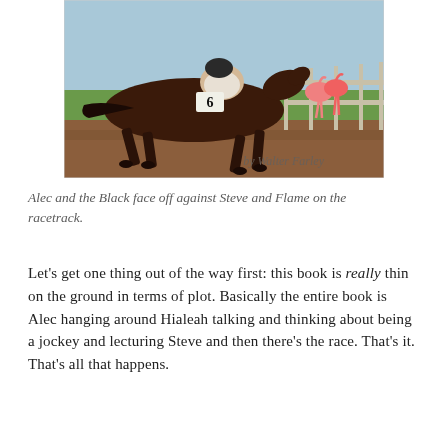[Figure (illustration): Book cover illustration showing a racehorse (number 6) with jockey in full gallop on a racetrack, with pink flamingos visible in the background near a fence. Text at bottom reads 'by Walter Farley'.]
Alec and the Black face off against Steve and Flame on the racetrack.
Let's get one thing out of the way first: this book is really thin on the ground in terms of plot. Basically the entire book is Alec hanging around Hialeah talking and thinking about being a jockey and lecturing Steve and then there's the race. That's it. That's all that happens.